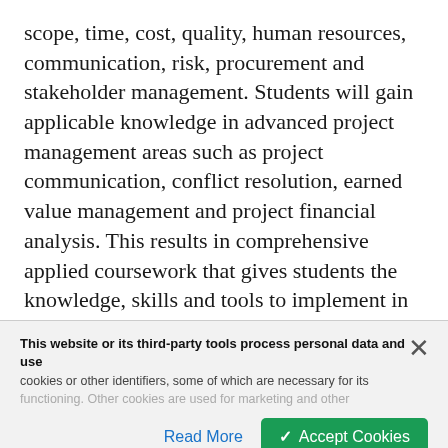scope, time, cost, quality, human resources, communication, risk, procurement and stakeholder management. Students will gain applicable knowledge in advanced project management areas such as project communication, conflict resolution, earned value management and project financial analysis. This results in comprehensive applied coursework that gives students the knowledge, skills and tools to implement in the project environment.
Seminole State is a Registered Education Provider (REP) with the Project Management Institute (PMI).
This website or its third-party tools process personal data and use cookies or other identifiers, some of which are necessary for its functioning. Other cookies are used for marketing and other